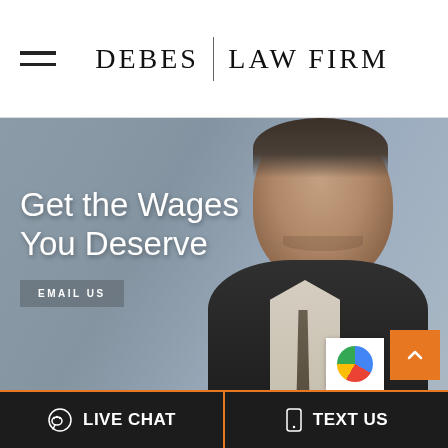DEBES | LAW FIRM
[Figure (photo): Hero banner with a smiling professional man in a suit against a blurred office background, with text overlay 'Get the Wages You Deserve' and an EMAIL US button]
Get the Wages You Deserve
EMAIL US
LIVE CHAT
TEXT US